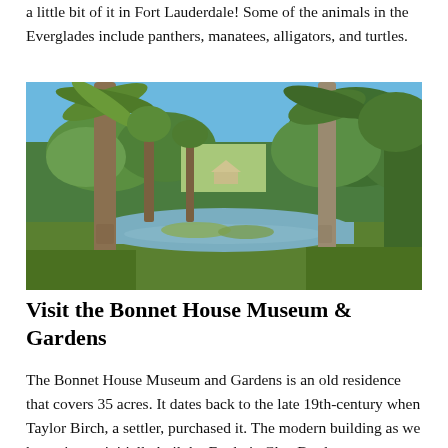a little bit of it in Fort Lauderdale! Some of the animals in the Everglades include panthers, manatees, alligators, and turtles.
[Figure (photo): A tropical garden scene with tall palm trees, a calm reflective pond or waterway, lush green vegetation, and a clear blue sky. A structure is visible in the background through the trees.]
Visit the Bonnet House Museum & Gardens
The Bonnet House Museum and Gardens is an old residence that covers 35 acres. It dates back to the late 19th-century when Taylor Birch, a settler, purchased it. The modern building as we know it was initially built by Frederic Clay Bartlett, an